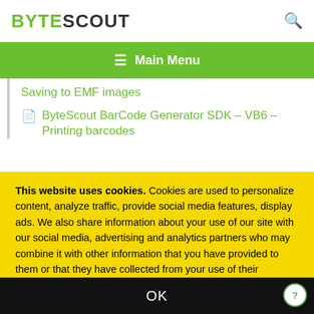BYTESCOUT
≡  Main Menu
Saving to EMF images
ByteScout BarCode Generator SDK – VB6 – Printing barcodes
This website uses cookies. Cookies are used to personalize content, analyze traffic, provide social media features, display ads. We also share information about your use of our site with our social media, advertising and analytics partners who may combine it with other information that you have provided to them or that they have collected from your use of their services. Please review our Privacy Policy for more details or change cookies settings. By closing this banner or by clicking a link or continuing to browse otherwise, you consent to our cookies.
OK